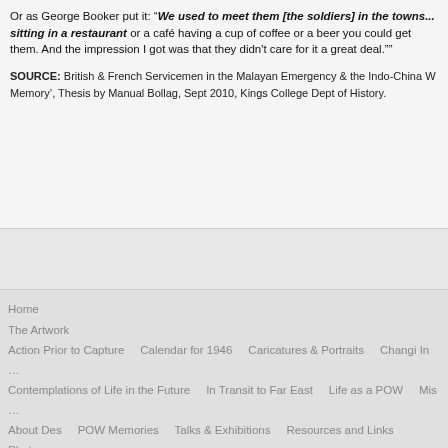Or as George Booker put it: "We used to meet them [the soldiers] in the towns...sitting in a restaurant or a café having a cup of coffee or a beer you could get them. And the impression I got was that they didn't care for it a great deal.""
SOURCE: British & French Servicemen in the Malayan Emergency & the Indo-China W... Memory', Thesis by Manual Bollag, Sept 2010, Kings College Dept of History.
Home  The Artwork  Action Prior to Capture  Calendar for 1946  Caricatures & Portraits  Changi In...  Contemplations of Life in the Future  In Transit to Far East  Life as a POW  Mis...  About Des  POW Memories  Talks & Exhibitions  Resources and Links  Photo...